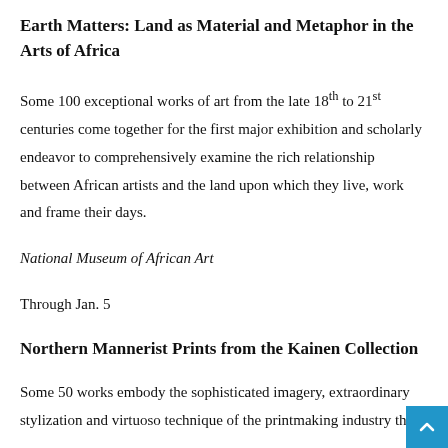Earth Matters: Land as Material and Metaphor in the Arts of Africa
Some 100 exceptional works of art from the late 18th to 21st centuries come together for the first major exhibition and scholarly endeavor to comprehensively examine the rich relationship between African artists and the land upon which they live, work and frame their days.
National Museum of African Art
Through Jan. 5
Northern Mannerist Prints from the Kainen Collection
Some 50 works embody the sophisticated imagery, extraordinary stylization and virtuoso technique of the printmaking industry that